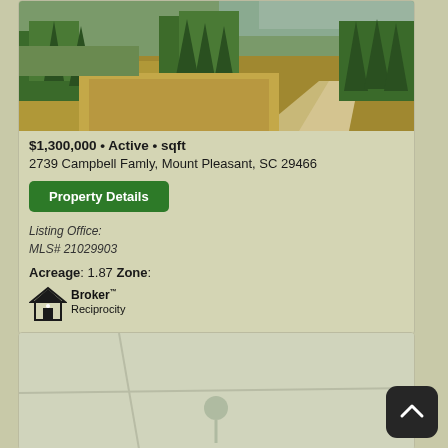[Figure (photo): Aerial photograph of a wooded land parcel with a dirt road, marshland visible in background, pine trees in foreground]
$1,300,000 • Active • sqft
2739 Campbell Famly, Mount Pleasant, SC 29466
Property Details
Listing Office:
MLS# 21029903
Acreage: 1.87 Zone:
[Figure (logo): Broker Reciprocity logo with house icon and text]
[Figure (photo): Second property listing card partially visible at bottom of page]